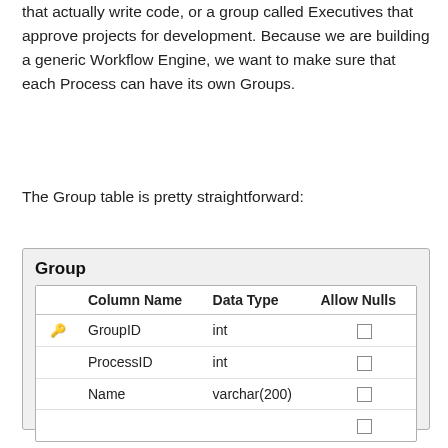that actually write code, or a group called Executives that approve projects for development. Because we are building a generic Workflow Engine, we want to make sure that each Process can have its own Groups.
The Group table is pretty straightforward:
[Figure (table-as-image): Database table schema diagram for the 'Group' table showing columns: GroupID (int, primary key, no nulls), ProcessID (int, no nulls), Name (varchar(200), no nulls), and an empty row with a null checkbox.]
|  | Column Name | Data Type | Allow Nulls |
| --- | --- | --- | --- |
| key | GroupID | int | ☐ |
|  | ProcessID | int | ☐ |
|  | Name | varchar(200) | ☐ |
|  |  |  | ☐ |